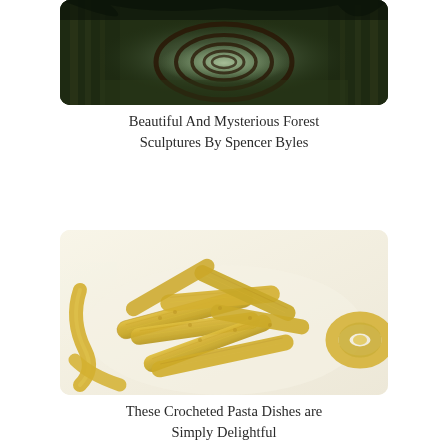[Figure (photo): A dark, misty forest with circular ring sculptures creating a tunnel-like perspective through the trees]
Beautiful And Mysterious Forest Sculptures By Spencer Byles
[Figure (photo): Yellow crocheted pasta shapes (penne-like tubes) arranged on a white surface, resembling real pasta]
These Crocheted Pasta Dishes are Simply Delightful